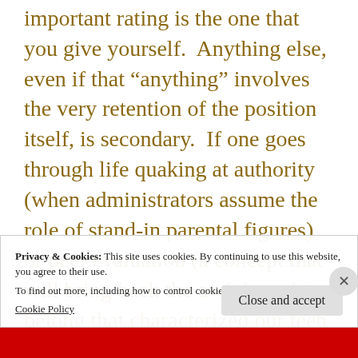important rating is the one that you give yourself.  Anything else, even if that “anything” involves the very retention of the position itself, is secondary.  If one goes through life quaking at authority (when administrators assume the role of stand-in parental figures) or peer evaluation (a concept that will bring back the awful need to belong that characterized our teen years), then the life on the job does not fully belong to you, and if one is to achieve one’s best, that life should be
Privacy & Cookies: This site uses cookies. By continuing to use this website, you agree to their use.
To find out more, including how to control cookies, see here:
Cookie Policy